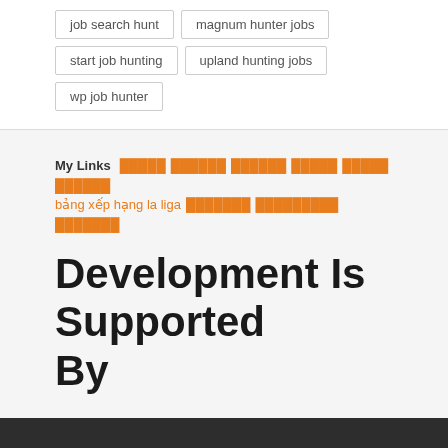job search hunt
magnum hunter jobs
start job hunting
upland hunting jobs
wp job hunter
My Links  ████  ██████  ██████  █████  █████  ██████  bảng xếp hạng la liga  ███████  █████████  ███████
Development Is Supported By
[Figure (logo): WINCAS logo in orange italic bold text with border, and an orange scroll-to-top button with white arrow]